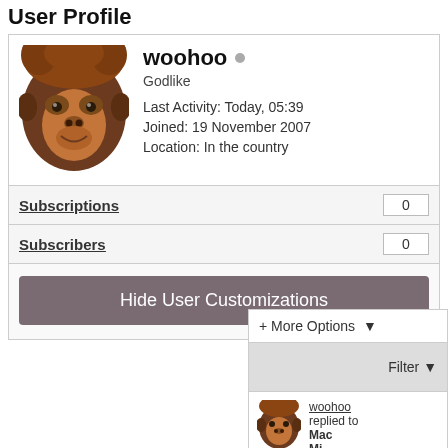User Profile
[Figure (photo): Profile photo of an orangutan (user avatar for woohoo)]
woohoo • Godlike
Last Activity: Today, 05:39
Joined: 19 November 2007
Location: In the country
|  |  |
| --- | --- |
| Subscriptions | 0 |
| Subscribers | 0 |
Hide User Customizations
+ More Options
Filter ▼
[Figure (photo): Small avatar of the orangutan user woohoo]
woohoo replied to Mac Mi...